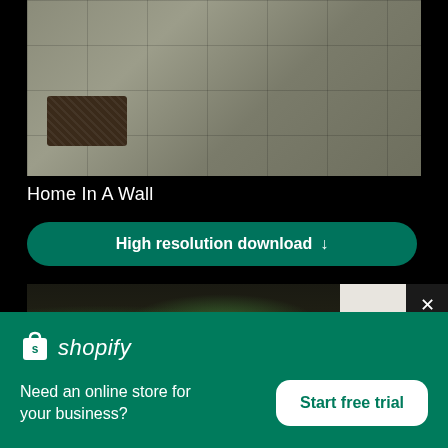[Figure (photo): Stone floor tiles with dark woven doormat, viewed from above]
Home In A Wall
High resolution download ↓
[Figure (photo): Courtyard with green plants against white wall]
[Figure (logo): Shopify logo — shopping bag icon with 's' and 'shopify' text]
Need an online store for your business?
Start free trial